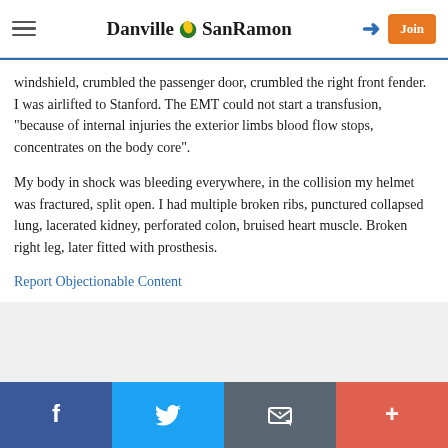Danville SanRamon
windshield, crumbled the passenger door, crumbled the right front fender. I was airlifted to Stanford. The EMT could not start a transfusion, "because of internal injuries the exterior limbs blood flow stops, concentrates on the body core".
My body in shock was bleeding everywhere, in the collision my helmet was fractured, split open. I had multiple broken ribs, punctured collapsed lung, lacerated kidney, perforated colon, bruised heart muscle. Broken right leg, later fitted with prosthesis.
Report Objectionable Content
Facebook | Twitter | Email | More